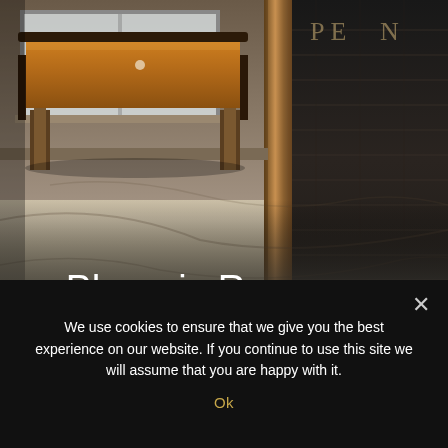[Figure (photo): Interior room photo showing a pool/billiard table with wooden legs and orange felt surface, marble or stone tile floor with veining, a wooden pillar, dark brick wall on the right, and a window letting in light at the top left. Partial text 'PE N' visible at top right corner in gold/cream color.]
Phoenix Recovery Experience
We use cookies to ensure that we give you the best experience on our website. If you continue to use this site we will assume that you are happy with it.
Ok